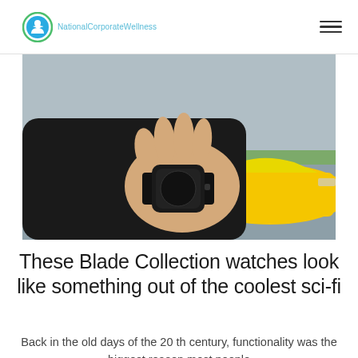NationalCorporateWellness
[Figure (photo): A person's hand wearing a black watch with yellow sports car in the background]
These Blade Collection watches look like something out of the coolest sci-fi
Back in the old days of the 20 th century, functionality was the biggest reason most people